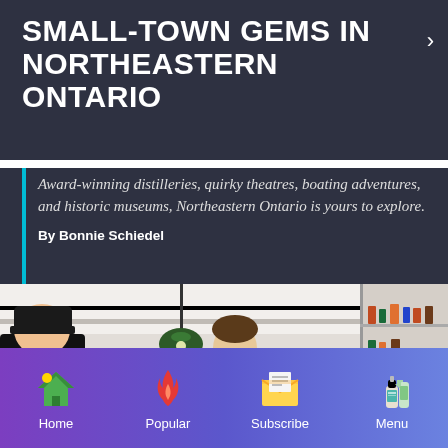SMALL-TOWN GEMS IN NORTHEASTERN ONTARIO
Award-winning distilleries, quirky theatres, boating adventures, and historic museums, Northeastern Ontario is yours to explore.
By Bonnie Schiedel
[Figure (photo): Interior of a café or distillery with green pendant lamps, a counter, shelving with bottles, and staff members working. Customers are visible in the foreground.]
Home  Popular  Subscribe  Menu